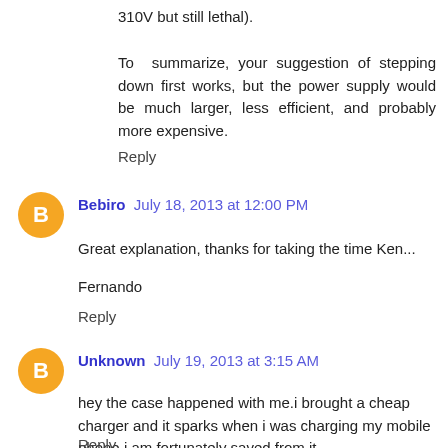310V but still lethal).
To summarize, your suggestion of stepping down first works, but the power supply would be much larger, less efficient, and probably more expensive.
Reply
Bebiro  July 18, 2013 at 12:00 PM
Great explanation, thanks for taking the time Ken...
Fernando
Reply
Unknown  July 19, 2013 at 3:15 AM
hey the case happened with me.i brought a cheap charger and it sparks when i was charging my mobile phone.i am fortunately saved from it
Reply